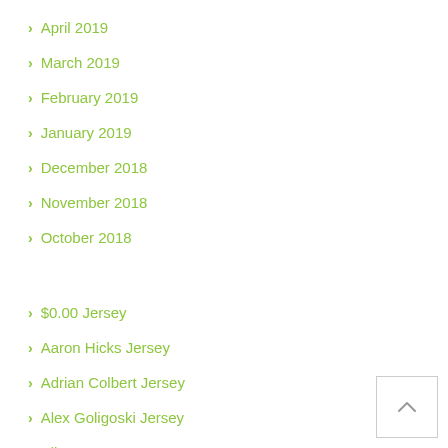April 2019
March 2019
February 2019
January 2019
December 2018
November 2018
October 2018
$0.00 Jersey
Aaron Hicks Jersey
Adrian Colbert Jersey
Alex Goligoski Jersey
Allen Hurns Jersey
Amani Hooker Jersey
Anthony Davis Jersey